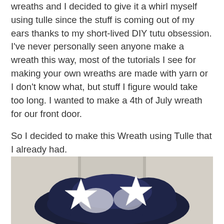wreaths and I decided to give it a whirl myself using tulle since the stuff is coming out of my ears thanks to my short-lived DIY tutu obsession. I've never personally seen anyone make a wreath this way, most of the tutorials I see for making your own wreaths are made with yarn or I don't know what, but stuff I figure would take too long. I wanted to make a 4th of July wreath for our front door.
So I decided to make this Wreath using Tulle that I already had.
[Figure (photo): Photo of a patriotic wreath made with navy and white tulle, decorated with white star shapes, hanging on a door.]